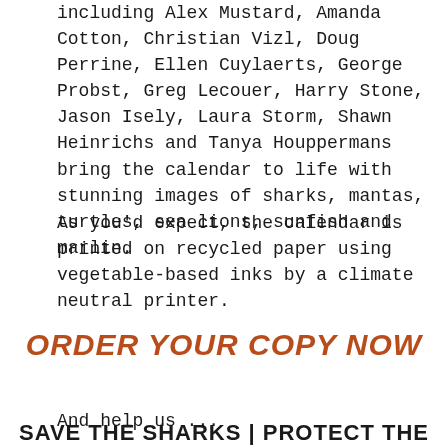including Alex Mustard, Amanda Cotton, Christian Vizl, Doug Perrine, Ellen Cuylaerts, George Probst, Greg Lecouer, Harry Stone, Jason Isely, Laura Storm, Shawn Heinrichs and Tanya Houppermans bring the calendar to life with stunning images of sharks, mantas, turtles, sea lions, sunfish and marlin.
As you'd expect, the calendar is printed on recycled paper using vegetable-based inks by a climate neutral printer.
ORDER YOUR COPY NOW
And help us ...
SAVE THE SHARKS | PROTECT THE OCEANS |